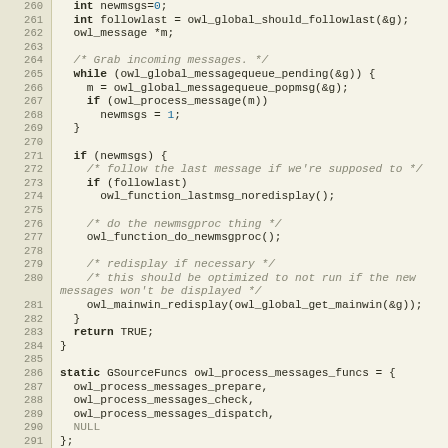[Figure (screenshot): Source code listing in a monospace code viewer with line numbers 260-291, showing C code for owl_process_messages function and GSourceFuncs struct initialization.]